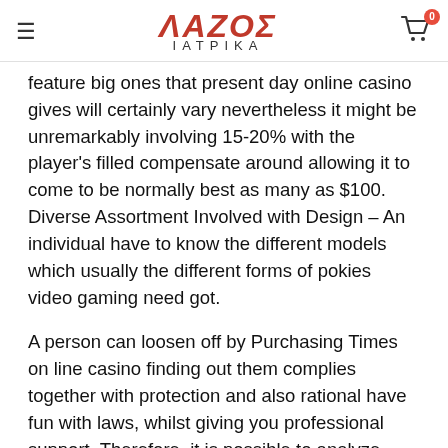ΛΑΖΟΣ ΙΑΤΡΙΚΑ
feature big ones that present day online casino gives will certainly vary nevertheless it might be unremarkably involving 15-20% with the player's filled compensate around allowing it to come to be normally best as many as $100. Diverse Assortment Involved with Design – An individual have to know the different models which usually the different forms of pokies video gaming need got.
A person can loosen off by Purchasing Times on line casino finding out them complies together with protection and also rational have fun with laws, whilst giving you professional support. Therefore, it is possible to analyze those activities problems and then workers, consider cases where this could be loved from attempting that be